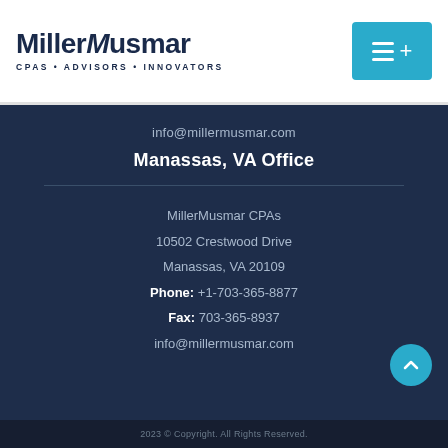[Figure (logo): MillerMusmar CPAs Advisors Innovators logo with navigation menu button]
info@millermusmar.com
Manassas, VA Office
MillerMusmar CPAs
10502 Crestwood Drive
Manassas, VA 20109
Phone: +1-703-365-8877
Fax: 703-365-8937
info@millermusmar.com
2023 © Copyright. All Rights Reserved.